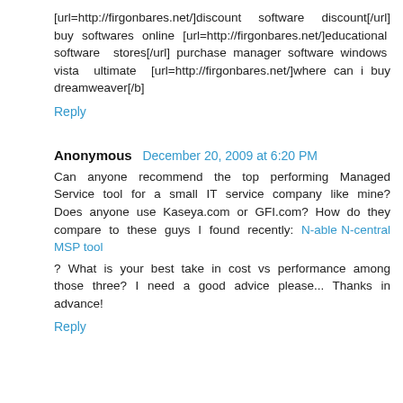[url=http://firgonbares.net/]discount software discount[/url] buy softwares online [url=http://firgonbares.net/]educational software stores[/url] purchase manager software windows vista ultimate [url=http://firgonbares.net/]where can i buy dreamweaver[/b]
Reply
Anonymous  December 20, 2009 at 6:20 PM
Can anyone recommend the top performing Managed Service tool for a small IT service company like mine? Does anyone use Kaseya.com or GFI.com? How do they compare to these guys I found recently: N-able N-central MSP tool ? What is your best take in cost vs performance among those three? I need a good advice please... Thanks in advance!
Reply